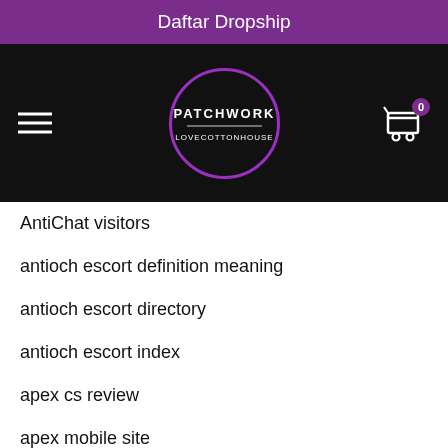Daftar Dropship
[Figure (logo): Patchwork Love Cotton House circular logo with purple ring on black background, with hamburger menu icon on left and shopping cart with badge '0' on right]
AntiChat visitors
antioch escort definition meaning
antioch escort directory
antioch escort index
apex cs review
apex mobile site
apex sign in
apex visitors